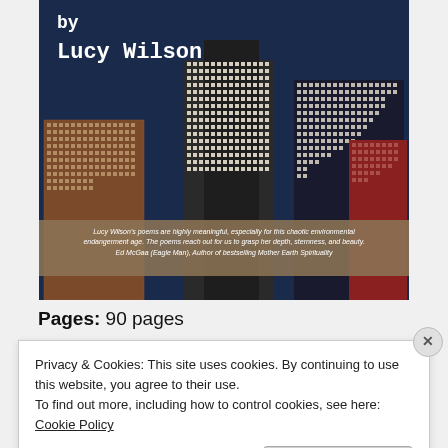[Figure (illustration): Book cover for a poetry collection by Lucy Wilson. Dark blue background with city skyline/buildings visible. Author name 'by Lucy Wilson' in white monospace font at top left. A quote at the bottom reads: 'Lucy Wilson's poems are highly meaningful, especially for this chaotic environmental endangerment age. The poems reach out for us to grasp her depth, sternness, and beauty. Ed McGaa (Eagle Man), Author of bestselling Mother Earth Spirituality']
Pages: 90 pages
Privacy & Cookies: This site uses cookies. By continuing to use this website, you agree to their use.
To find out more, including how to control cookies, see here: Cookie Policy
Close and accept